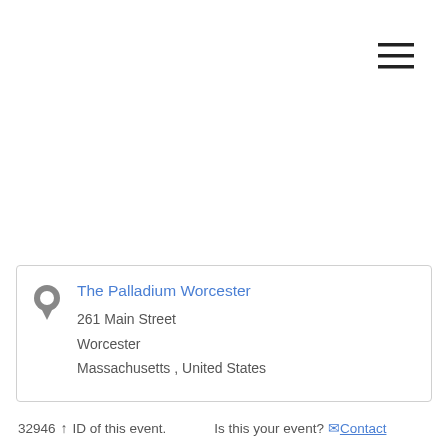[Figure (other): Hamburger menu icon with three horizontal lines in the top right corner]
The Palladium Worcester
261 Main Street
Worcester
Massachusetts , United States
32946 ↑ ID of this event.   Is this your event? ✉Contact